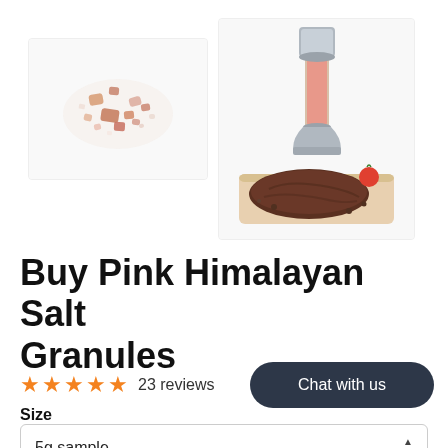[Figure (photo): Pink Himalayan salt granules scattered on a white background]
[Figure (photo): A stainless steel salt grinder filled with pink Himalayan salt, with a steak on a wooden board and cherry tomatoes beside it]
Buy Pink Himalayan Salt Granules
★★★★★ 23 reviews
Chat with us
Size
5g sample